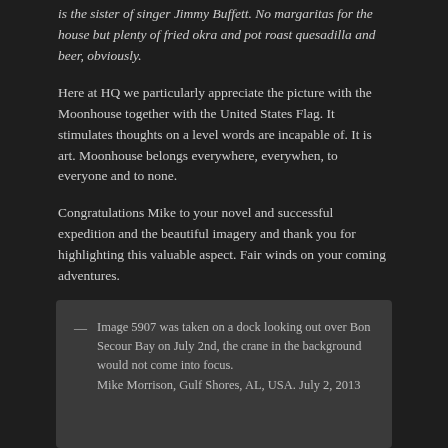is the sister of singer Jimmy Buffett. No margaritas for the house but plenty of fried okra and pot roast quesadilla and beer, obviously.
Here at HQ we particularly appreciate the picture with the Moonhouse together with the United States Flag. It stimulates thoughts on a level words are incapable of. It is art. Moonhouse belongs everywhere, everywhen, to everyone and to none.
Congratulations Mike to your novel and successful expedition and the beautiful imagery and thank you for highlighting this valuable aspect. Fair winds on your coming adventures.
Image 5907 was taken on a dock looking out over Bon Secour Bay on July 2nd, the crane in the background would not come into focus.
Mike Morrison, Gulf Shores, AL, USA. July 2, 2013